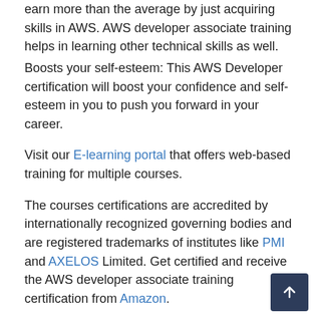earn more than the average by just acquiring skills in AWS. AWS developer associate training helps in learning other technical skills as well.
Boosts your self-esteem: This AWS Developer certification will boost your confidence and self-esteem in you to push you forward in your career.
Visit our E-learning portal that offers web-based training for multiple courses.
The courses certifications are accredited by internationally recognized governing bodies and are registered trademarks of institutes like PMI and AXELOS Limited. Get certified and receive the AWS developer associate training certification from Amazon.
Sprintzeal also offers training for other cloud computing courses in Zinder.
AWS Solution Architect Certification
AWS Sysops Associate Certification